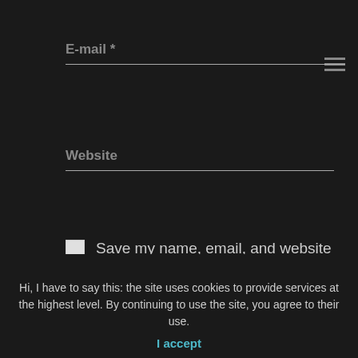E-mail *
Website
Save my name, email, and website in this browser for the next time I comment.
Submit your comment
Wit... ...e...e...r sta tic Ab i... ...st pla...
Hi, I have to say this: the site uses cookies to provide services at the highest level. By continuing to use the site, you agree to their use.
I accept